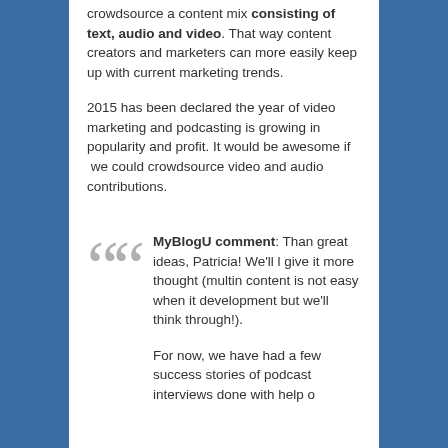crowdsource a content mix consisting of text, audio and video. That way content creators and marketers can more easily keep up with current marketing trends.
2015 has been declared the year of video marketing and podcasting is growing in popularity and profit. It would be awesome if  we could crowdsource video and audio contributions.
MyBlogU comment: Thank great ideas, Patricia! We'll give it more thought (multin content is not easy when it development but we'll think through!).
For now, we have had a few success stories of podcast interviews done with help o